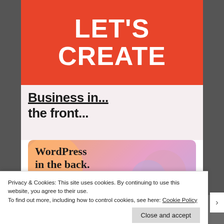LET'S CREATE
Business in the front...
[Figure (illustration): WordPress promotional card with colorful blob background showing text 'WordPress in the back.']
Privacy & Cookies: This site uses cookies. By continuing to use this website, you agree to their use.
To find out more, including how to control cookies, see here: Cookie Policy
Close and accept